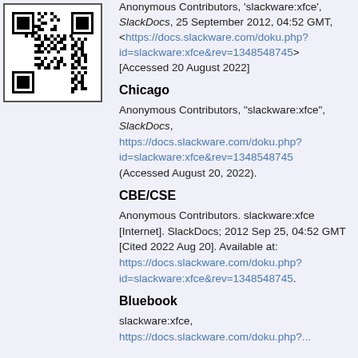[Figure (other): QR code linking to SlackDocs slackware:xfce page]
Anonymous Contributors, 'slackware:xfce', SlackDocs, 25 September 2012, 04:52 GMT, <https://docs.slackware.com/doku.php?id=slackware:xfce&rev=1348548745> [Accessed 20 August 2022]
Chicago
Anonymous Contributors, "slackware:xfce", SlackDocs, https://docs.slackware.com/doku.php?id=slackware:xfce&rev=1348548745 (Accessed August 20, 2022).
CBE/CSE
Anonymous Contributors. slackware:xfce [Internet]. SlackDocs; 2012 Sep 25, 04:52 GMT [Cited 2022 Aug 20]. Available at: https://docs.slackware.com/doku.php?id=slackware:xfce&rev=1348548745.
Bluebook
slackware:xfce, https://docs.slackware.com/doku.php?...